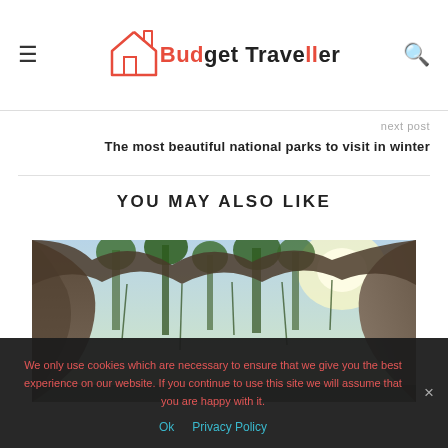Budget Traveller
next post
The most beautiful national parks to visit in winter
YOU MAY ALSO LIKE
[Figure (photo): View from inside a cave looking out at tropical trees and rock formations with sunlight filtering through]
We only use cookies which are necessary to ensure that we give you the best experience on our website. If you continue to use this site we will assume that you are happy with it.
Ok   Privacy Policy